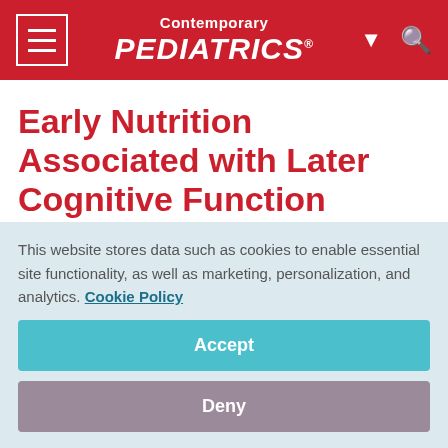Contemporary PEDIATRICS
Early Nutrition Associated with Later Cognitive Function
July 8, 2008
[Figure (infographic): Social sharing icons row: Facebook (blue), Twitter (light blue), LinkedIn (dark blue), Pinterest (red), Email (grey)]
In resource poor environments, providing a protein rich
This website stores data such as cookies to enable essential site functionality, as well as marketing, personalization, and analytics. Cookie Policy
Accept
Deny